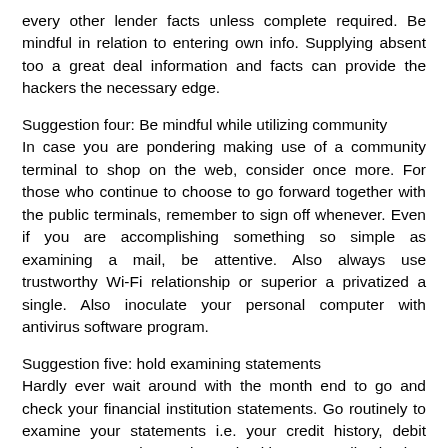every other lender facts unless complete required. Be mindful in relation to entering own info. Supplying absent too a great deal information and facts can provide the hackers the necessary edge.
Suggestion four: Be mindful while utilizing community
In case you are pondering making use of a community terminal to shop on the web, consider once more. For those who continue to choose to go forward together with the public terminals, remember to sign off whenever. Even if you are accomplishing something so simple as examining a mail, be attentive. Also always use trustworthy Wi-Fi relationship or superior a privatized a single. Also inoculate your personal computer with antivirus software program.
Suggestion five: hold examining statements
Hardly ever wait around with the month end to go and check your financial institution statements. Go routinely to examine your statements i.e. your credit history, debit statements. Continue to keep checking your on-line buying